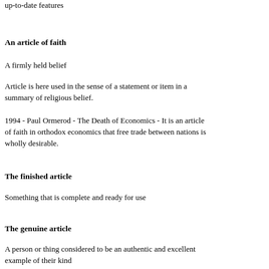up-to-date features
An article of faith
A firmly held belief
Article is here used in the sense of a statement or item in a summary of religious belief.
1994 - Paul Ormerod - The Death of Economics - It is an article of faith in orthodox economics that free trade between nations is wholly desirable.
The finished article
Something that is complete and ready for use
The genuine article
A person or thing considered to be an authentic and excellent example of their kind